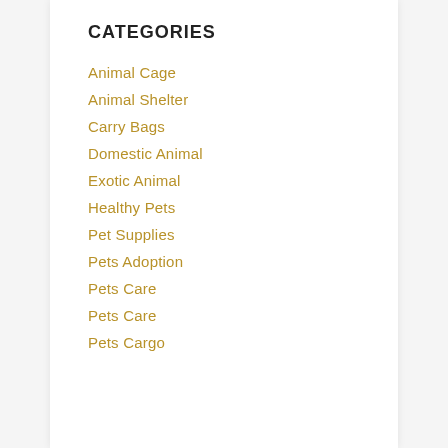CATEGORIES
Animal Cage
Animal Shelter
Carry Bags
Domestic Animal
Exotic Animal
Healthy Pets
Pet Supplies
Pets Adoption
Pets Care
Pets Care
Pets Cargo